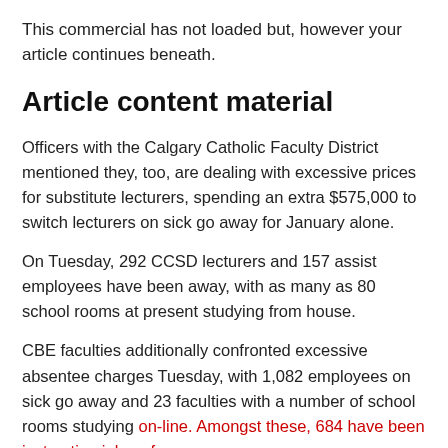This commercial has not loaded but, however your article continues beneath.
Article content material
Officers with the Calgary Catholic Faculty District mentioned they, too, are dealing with excessive prices for substitute lecturers, spending an extra $575,000 to switch lecturers on sick go away for January alone.
On Tuesday, 292 CCSD lecturers and 157 assist employees have been away, with as many as 80 school rooms at present studying from house.
CBE faculties additionally confronted excessive absentee charges Tuesday, with 1,082 employees on sick go away and 23 faculties with a number of school rooms studying on-line. Amongst these, 684 have been instructing jobs, of